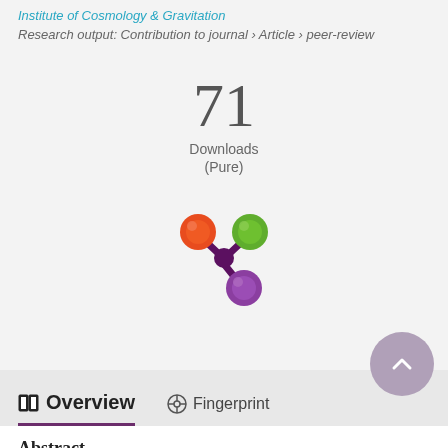Institute of Cosmology & Gravitation
Research output: Contribution to journal › Article › peer-review
71 Downloads (Pure)
[Figure (logo): Altmetric donut logo with orange, green, and purple circles connected by purple splat shape]
Overview
Fingerprint
Abstract